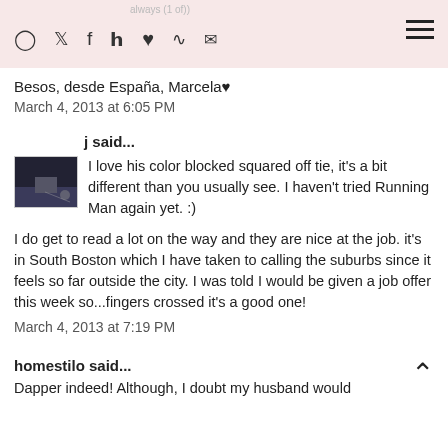always (1 of))  [social icons]  [hamburger menu]
Besos, desde España, Marcela♥
March 4, 2013 at 6:05 PM
j said...
I love his color blocked squared off tie, it's a bit different than you usually see. I haven't tried Running Man again yet. :)
I do get to read a lot on the way and they are nice at the job. it's in South Boston which I have taken to calling the suburbs since it feels so far outside the city. I was told I would be given a job offer this week so...fingers crossed it's a good one!
March 4, 2013 at 7:19 PM
homestilo said...
Dapper indeed! Although, I doubt my husband would